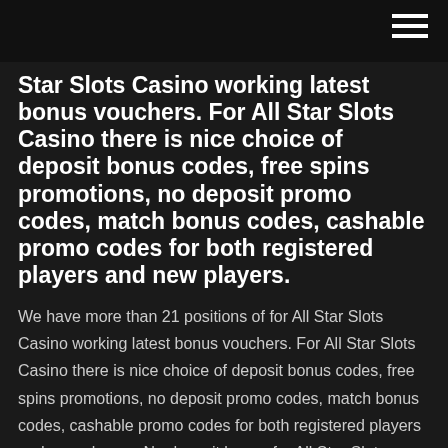Star Slots Casino working latest bonus vouchers. For All Star Slots Casino there is nice choice of deposit bonus codes, free spins promotions, no deposit promo codes, match bonus codes, cashable promo codes for both registered players and new players.
We have more than 21 positions of for All Star Slots Casino working latest bonus vouchers. For All Star Slots Casino there is nice choice of deposit bonus codes, free spins promotions, no deposit promo codes, match bonus codes, cashable promo codes for both registered players and new players. No deposit bonus for All Star Slots Casino Your bonus code: COL50FREEWW 50 free spins valid for Witchy